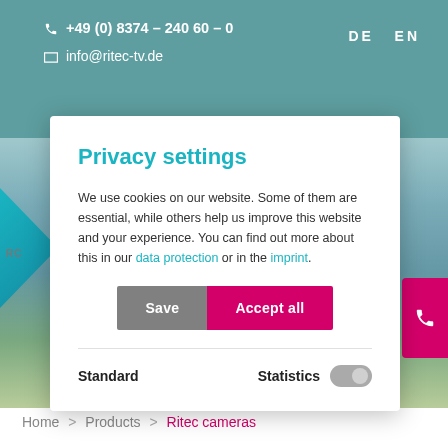+49 (0) 8374 - 240 60 - 0  info@ritec-tv.de  DE  EN
Privacy settings
We use cookies on our website. Some of them are essential, while others help us improve this website and your experience. You can find out more about this in our data protection or in the imprint.
Save | Accept all
Standard   Statistics
Home > Products > Ritec cameras